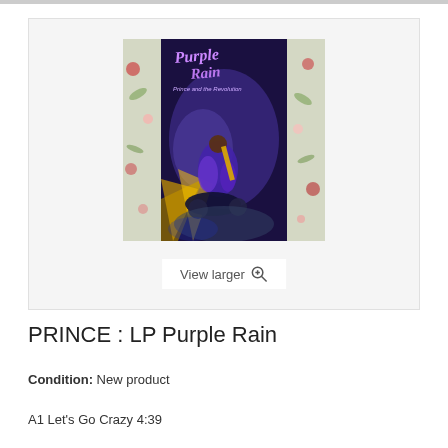[Figure (photo): Album cover of Prince - Purple Rain (LP), showing Prince on a motorcycle with floral border elements and stylized purple text logo]
PRINCE : LP Purple Rain
Condition: New product
A1 Let's Go Crazy 4:39